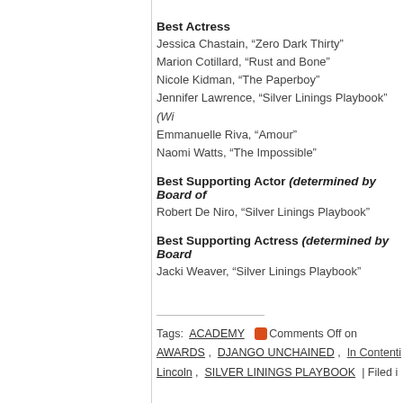Best Actress
Jessica Chastain, “Zero Dark Thirty”
Marion Cotillard, “Rust and Bone”
Nicole Kidman, “The Paperboy”
Jennifer Lawrence, “Silver Linings Playbook” (Winner)
Emmanuelle Riva, “Amour”
Naomi Watts, “The Impossible”
Best Supporting Actor (determined by Board of...)
Robert De Niro, “Silver Linings Playbook”
Best Supporting Actress (determined by Board...)
Jacki Weaver, “Silver Linings Playbook”
Tags: ACADEMY AWARDS , DJANGO UNCHAINED , In Contention , Lincoln , SILVER LININGS PLAYBOOK | Filed in...
Comments Off on...